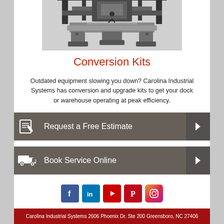[Figure (photo): Industrial loading dock equipment / conversion kit machinery viewed from below, showing metal frame, cylinders and mechanical components]
Conversion Kits
Outdated equipment slowing you down? Carolina Industrial Systems has conversion and upgrade kits to get your dock or warehouse operating at peak efficiency.
Request a Free Estimate
Book Service Online
[Figure (infographic): Social media icons: Facebook, LinkedIn, YouTube, Pinterest, Instagram]
Carolina Industrial Systems 2606 Phoenix Dr. Ste 200 Greensboro, NC 27406